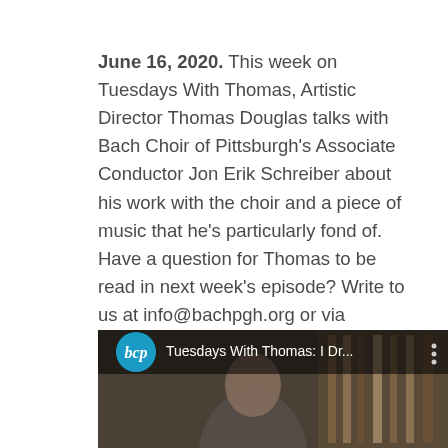June 16, 2020. This week on Tuesdays With Thomas, Artistic Director Thomas Douglas talks with Bach Choir of Pittsburgh's Associate Conductor Jon Erik Schreiber about his work with the choir and a piece of music that he's particularly fond of.  Have a question for Thomas to be read in next week's episode? Write to us at info@bachpgh.org or via Facebook messenger.
[Figure (screenshot): Video thumbnail showing the BCP (Bach Choir of Pittsburgh) logo on a dark background with text 'Tuesdays With Thomas: I Dr...' and a three-dot menu icon, with a partial view of a person]